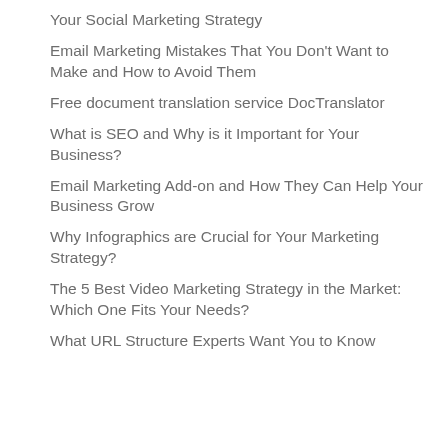Your Social Marketing Strategy
Email Marketing Mistakes That You Don't Want to Make and How to Avoid Them
Free document translation service DocTranslator
What is SEO and Why is it Important for Your Business?
Email Marketing Add-on and How They Can Help Your Business Grow
Why Infographics are Crucial for Your Marketing Strategy?
The 5 Best Video Marketing Strategy in the Market: Which One Fits Your Needs?
What URL Structure Experts Want You to Know